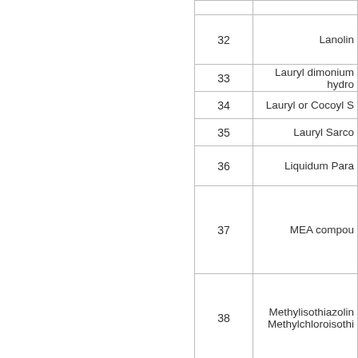| # | Name |
| --- | --- |
| 32 | Lanolin |
| 33 | Lauryl dimonium hydro |
| 34 | Lauryl or Cocoyl S |
| 35 | Lauryl Sarco |
| 36 | Liquidum Para |
| 37 | MEA compou |
| 38 | Methylisothiazolin
Methylchloroisothi |
| 39 | Mineral O |